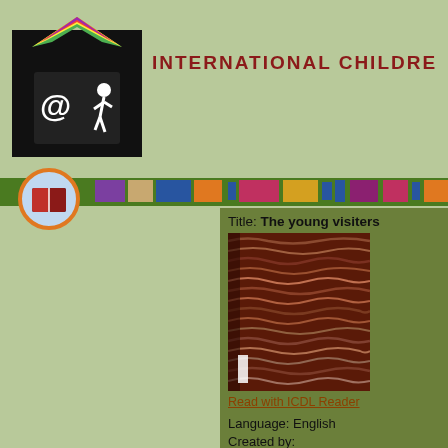[Figure (logo): ICDL logo: black box with @ symbol and running person figure, colorful book graphic on top]
INTERNATIONAL CHILDREN'S DIGITAL LIBRARY
[Figure (illustration): Colored stripe bar with repeating colored rectangles (purple, tan, blue, orange, pink, yellow, blue, purple, pink, blue, orange)]
[Figure (logo): Circular book icon with orange border and blue background showing an open red book]
Title: The young visiters
[Figure (photo): Book cover of 'The young visiters' - appears to be a textured dark red/maroon cover with wavy pattern]
Read with ICDL Reader
Language: English
Created by:
Daisy Ashford (Author)
Abstract: Ashford wrote this book when old although it didn't become printed until later. This novel is a completely innocent amusing spoof of Victorian society. The year old Alfred Salteena, who horn on